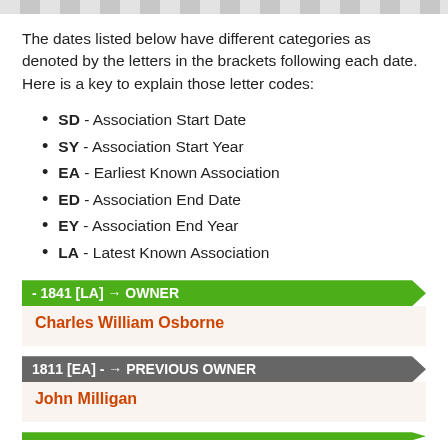The dates listed below have different categories as denoted by the letters in the brackets following each date. Here is a key to explain those letter codes:
SD - Association Start Date
SY - Association Start Year
EA - Earliest Known Association
ED - Association End Date
EY - Association End Year
LA - Latest Known Association
- 1841 [LA] → OWNER
Charles William Osborne
1811 [EA] - → PREVIOUS OWNER
John Milligan